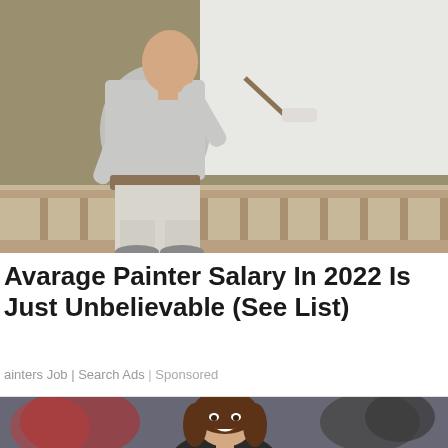[Figure (photo): A man (painter) seen from behind, painting a wall white with a roller. He is wearing a light grey t-shirt and white work pants. The room has tan/olive colored walls, wooden wainscoting with balusters along the bottom. The area he is painting is now white.]
Avarage Painter Salary In 2022 Is Just Unbelievable (See List)
ainters Job | Search Ads | Sponsored
[Figure (photo): Partial view of a woman with brown hair smiling, appearing to be a news anchor or TV personality. Background shows colorful blurred lights.]